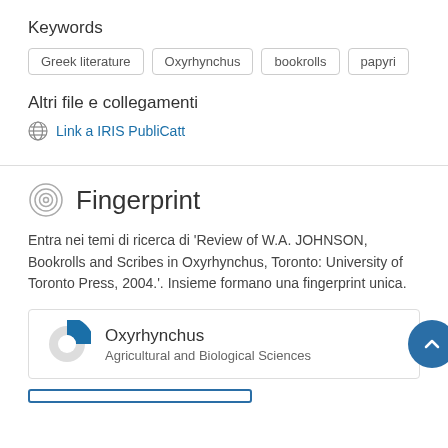Keywords
Greek literature
Oxyrhynchus
bookrolls
papyri
Altri file e collegamenti
Link a IRIS PubliCatt
Fingerprint
Entra nei temi di ricerca di 'Review of W.A. JOHNSON, Bookrolls and Scribes in Oxyrhynchus, Toronto: University of Toronto Press, 2004.'. Insieme formano una fingerprint unica.
Oxyrhynchus
Agricultural and Biological Sciences